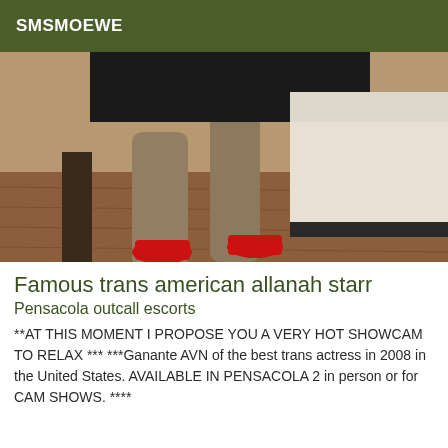SMSMOEWE
[Figure (photo): Photo of legs in black stockings and red high heels, seated on white furniture, wooden floor background]
Famous trans american allanah starr
Pensacola outcall escorts
**AT THIS MOMENT I PROPOSE YOU A VERY HOT SHOWCAM TO RELAX *** ***Ganante AVN of the best trans actress in 2008 in the United States. AVAILABLE IN PENSACOLA 2 in person or for CAM SHOWS. ****